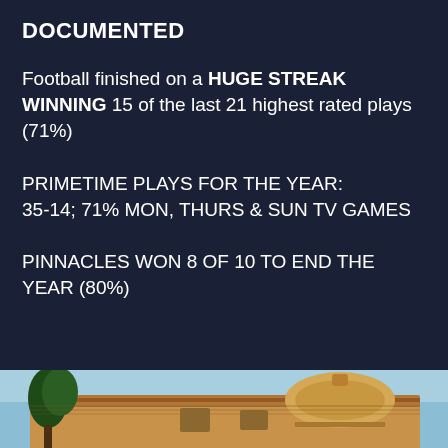DOCUMENTED
Football finished on a HUGE STREAK WINNING 15 of the last 21 highest rated plays (71%)
PRIMETIME PLAYS FOR THE YEAR: 35-14; 71% MON, THURS & SUN TV GAMES
PINNACLES WON 8 OF 10 TO END THE YEAR (80%)
[Figure (photo): Exterior photo of a building with a dome and clay tile roof, with trees and blue sky in the background]